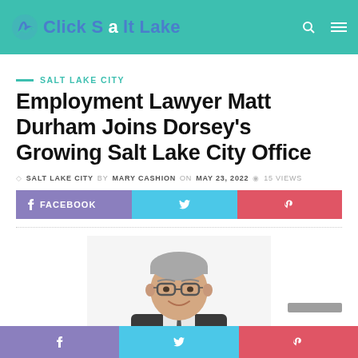Click Salt Lake
SALT LAKE CITY
Employment Lawyer Matt Durham Joins Dorsey's Growing Salt Lake City Office
SALT LAKE CITY by MARY CASHION on MAY 23, 2022 · 15 VIEWS
FACEBOOK
[Figure (photo): Professional headshot of Matt Durham, a middle-aged man with gray hair, glasses, wearing a dark suit and tie, smiling]